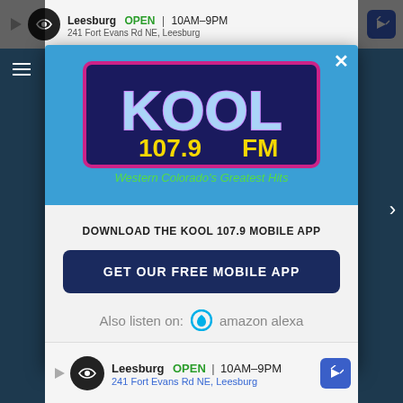[Figure (screenshot): Background webpage showing blue content with dark overlay sides]
[Figure (screenshot): Top advertisement banner: Leesburg store, OPEN 10AM-9PM, 241 Fort Evans Rd NE, Leesburg with navigation icon]
[Figure (logo): KOOL 107.9 FM radio station logo - Western Colorado's Greatest Hits]
DOWNLOAD THE KOOL 107.9 MOBILE APP
GET OUR FREE MOBILE APP
Also listen on: amazon alexa
[Figure (screenshot): Bottom advertisement banner: Leesburg store, OPEN 10AM-9PM, 241 Fort Evans Rd NE, Leesburg with navigation icon]